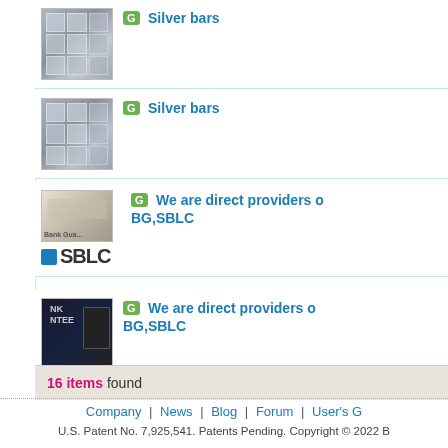[Figure (screenshot): Listing item: Silver bars with thumbnail image of silver bars]
Silver bars
[Figure (screenshot): Listing item: Silver bars with thumbnail image of silver bars]
Silver bars
[Figure (screenshot): Listing item: We are direct providers of BG,SBLC with handshake thumbnail and SBLC logo]
We are direct providers of BG,SBLC
[Figure (screenshot): Listing item: We are direct providers of BG,SBLC with dark card thumbnail]
We are direct providers of BG,SBLC
16 items found
Company | News | Blog | Forum | User's G
U.S. Patent No. 7,925,541. Patents Pending. Copyright © 2022 B